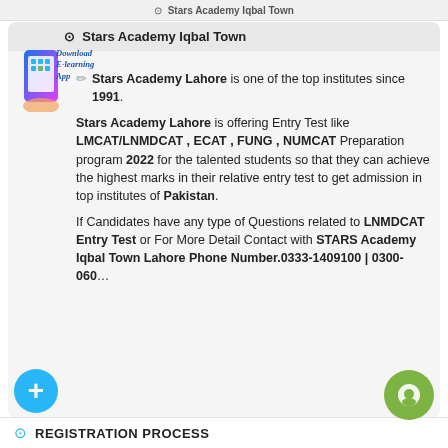Stars Academy Iqbal Town
[Figure (illustration): E-learning app download badge with phone graphic and italic text 'Download E-learning App']
Stars Academy Lahore is one of the top institutes since 1991.
Stars Academy Lahore is offering Entry Test like LMCAT/LNMDCAT , ECAT , FUNG , NUMCAT Preparation program 2022 for the talented students so that they can achieve the highest marks in their relative entry test to get admission in top institutes of Pakistan.
If Candidates have any type of Questions related to LNMDCAT Entry Test or For More Detail Contact with STARS Academy Iqbal Town Lahore Phone Number.0333-1409100 | 0300-060...
REGISTRATION PROCESS